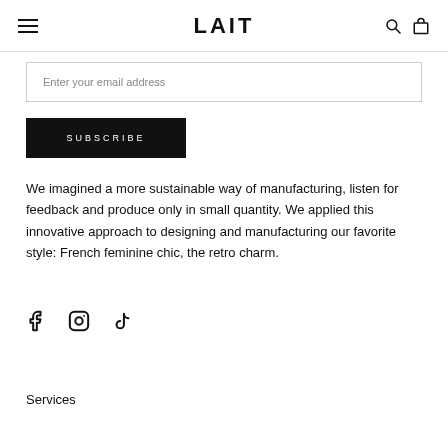LAIT
Enter your email address
SUBSCRIBE
We imagined a more sustainable way of manufacturing, listen for feedback and produce only in small quantity. We applied this innovative approach to designing and manufacturing our favorite style: French feminine chic, the retro charm.
[Figure (illustration): Social media icons: Facebook, Instagram, TikTok]
Services